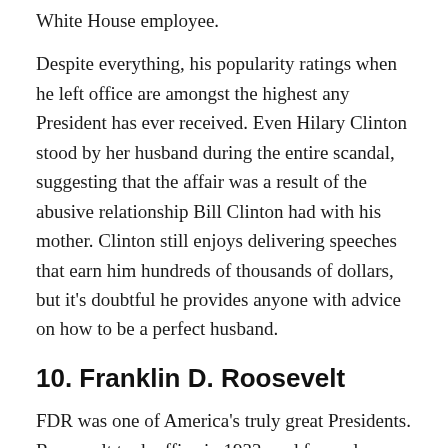White House employee.
Despite everything, his popularity ratings when he left office are amongst the highest any President has ever received. Even Hilary Clinton stood by her husband during the entire scandal, suggesting that the affair was a result of the abusive relationship Bill Clinton had with his mother. Clinton still enjoys delivering speeches that earn him hundreds of thousands of dollars, but it's doubtful he provides anyone with advice on how to be a perfect husband.
10. Franklin D. Roosevelt
FDR was one of America's truly great Presidents. Roosevelt took office in 1933, and formed a series of domestic programs known as the New Deal, which...